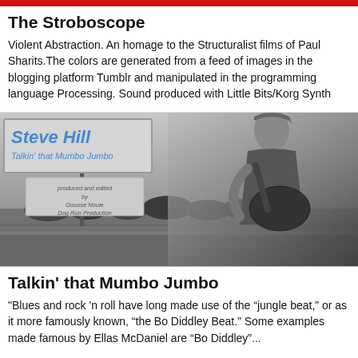The Stroboscope
Violent Abstraction. An homage to the Structuralist films of Paul Sharits.The colors are generated from a feed of images in the blogging platform Tumblr and manipulated in the programming language Processing. Sound produced with Little Bits/Korg Synth Kit...
[Figure (photo): Black and white photo of Steve Hill, a man playing guitar, standing next to two roadside signs. The larger sign reads 'Steve Hill / Talkin' that Mumbo Jumbo' in blue text. A smaller sign below reads 'produced and edited by Gousse Noule Dog Run Production'. The background shows a road and trees.]
Talkin' that Mumbo Jumbo
"Blues and rock 'n roll have long made use of the “jungle beat,” or as it more famously known, “the Bo Diddley Beat.” Some examples made famous by Ellas McDaniel are “Bo Diddley”...